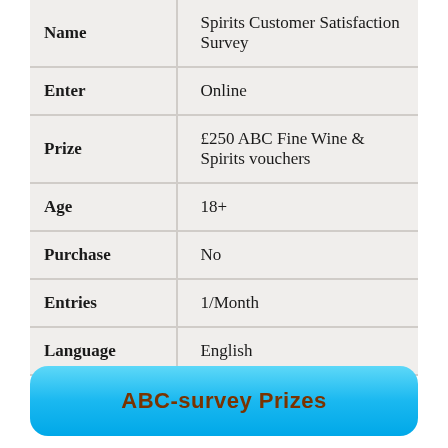| Name | Value |
| --- | --- |
| Name | Spirits Customer Satisfaction Survey |
| Enter | Online |
| Prize | £250 ABC Fine Wine & Spirits vouchers |
| Age | 18+ |
| Purchase | No |
| Entries | 1/Month |
| Language | English |
ABC-survey Prizes